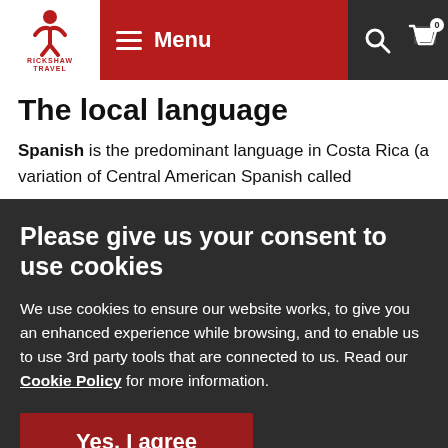Rickshaw Travel — Menu
The local language
Spanish is the predominant language in Costa Rica (a variation of Central American Spanish called
Please give us your consent to use cookies
We use cookies to ensure our website works, to give you an enhanced experience while browsing, and to enable us to use 3rd party tools that are connected to us. Read our Cookie Policy for more information.
Yes, I agree